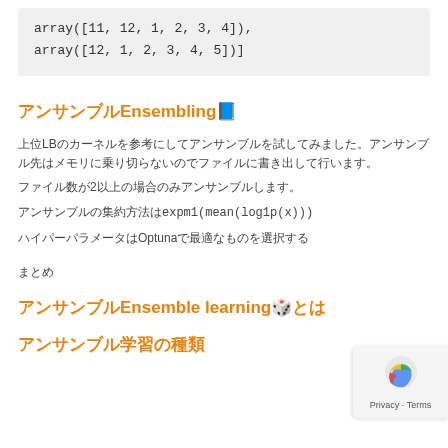array([11, 12, 1, 2, 3, 4]),
    array([12, 1, 2, 3, 4, 5])]
アンサンブルEnsembling
上位LBのカーネルを参考にしてアンサンブルを試してみました。アンサンブル先はメモリに乗り切らないのでファイルに書き出して行います。
ファイル数が2以上の場合のみアンサンブルします。
アンサンブルの集約方法はexpm1(mean(log1p(x)))
ハイパーパラメータはOptunaで最適なものを選択する
まとめ
アンサンブルEnsemble learningとは
アンサンブル学習の種類